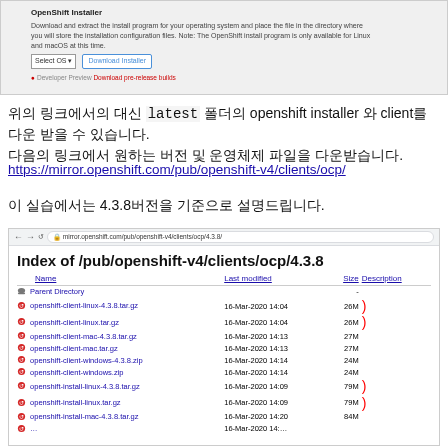[Figure (screenshot): Screenshot of OpenShift installer download page showing download and extract instructions, Select OS dropdown, Download Installer button, and Developer Preview link for pre-release builds.]
위의 링크에서의 대신  latest 폴더의 openshift installer 와 client를 다운 받을 수 있습니다. 다음의 링크에서 원하는 버전 및 운영체제 파일을 다운받습니다.
https://mirror.openshift.com/pub/openshift-v4/clients/ocp/
이 실습에서는 4.3.8버전을 기준으로 설명드립니다.
[Figure (screenshot): Browser screenshot showing directory index at mirror.openshift.com/pub/openshift-v4/clients/ocp/4.3.8 with file listing including openshift-client-linux-4.3.8.tar.gz, openshift-client-linux.tar.gz, openshift-client-mac-4.3.8.tar.gz, openshift-client-mac.tar.gz, openshift-client-windows-4.3.8.zip, openshift-client-windows.zip, openshift-install-linux-4.3.8.tar.gz, openshift-install-linux.tar.gz, openshift-install-mac-4.3.8.tar.gz with dates, sizes and red bracket annotations.]